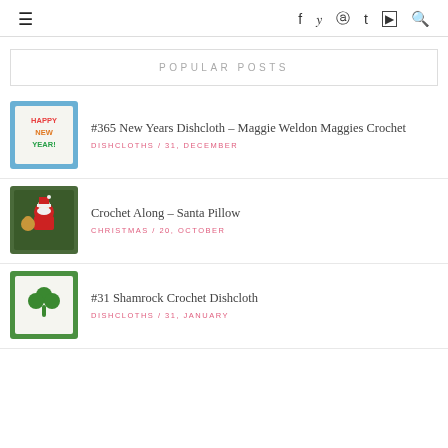≡  f  𝓨  ⊕  t  ▶  🔍
POPULAR POSTS
[Figure (illustration): Crochet dishcloth with Happy New Year text in colorful letters on white background with blue border]
#365 New Years Dishcloth – Maggie Weldon Maggies Crochet
DISHCLOTHS / 31, DECEMBER
[Figure (illustration): Dark green crochet pillow with Santa Claus and reindeer design, red border]
Crochet Along – Santa Pillow
CHRISTMAS / 20, OCTOBER
[Figure (illustration): Crochet dishcloth with green shamrock/clover on white background with green border]
#31 Shamrock Crochet Dishcloth
DISHCLOTHS / 31, JANUARY